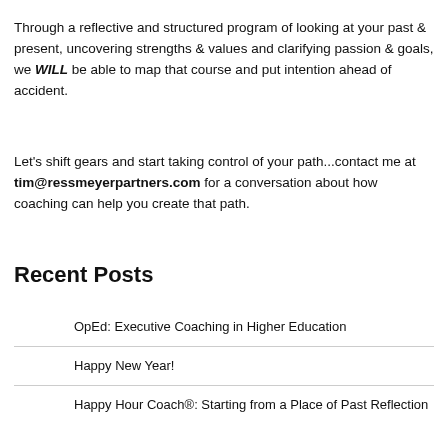Through a reflective and structured program of looking at your past & present, uncovering strengths & values and clarifying passion & goals, we WILL be able to map that course and put intention ahead of accident.
Let's shift gears and start taking control of your path...contact me at tim@ressmeyerpartners.com for a conversation about how coaching can help you create that path.
Recent Posts
OpEd: Executive Coaching in Higher Education
Happy New Year!
Happy Hour Coach®: Starting from a Place of Past Reflection